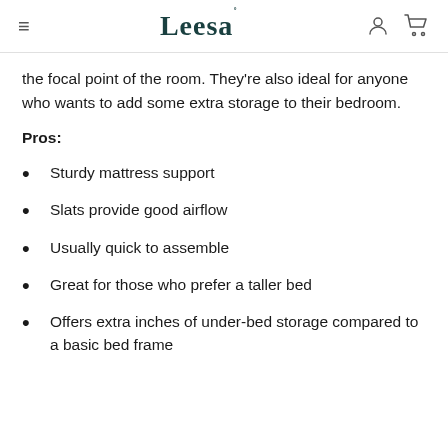Leesa
the focal point of the room. They're also ideal for anyone who wants to add some extra storage to their bedroom.
Pros:
Sturdy mattress support
Slats provide good airflow
Usually quick to assemble
Great for those who prefer a taller bed
Offers extra inches of under-bed storage compared to a basic bed frame